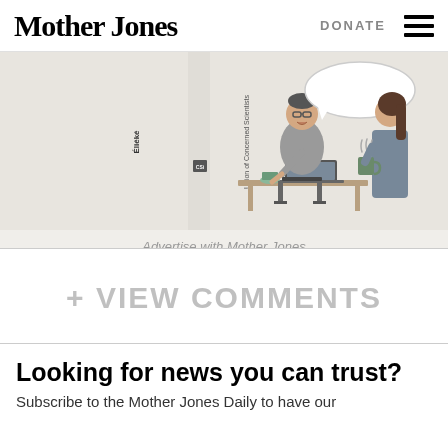Mother Jones | DONATE
[Figure (illustration): Cartoon illustration showing two people: a man sitting at a desk with a laptop, gesturing and speaking with a speech bubble, and a woman standing holding a coffee mug with steam rising. Union of Concerned Scientists logo visible on left side.]
Advertise with Mother Jones
+ VIEW COMMENTS
Looking for news you can trust?
Subscribe to the Mother Jones Daily to have our